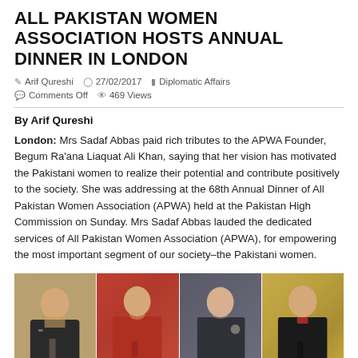ALL PAKISTAN WOMEN ASSOCIATION HOSTS ANNUAL DINNER IN LONDON
Arif Qureshi  27/02/2017  Diplomatic Affairs  Comments Off  469 Views
By Arif Qureshi
London: Mrs Sadaf Abbas paid rich tributes to the APWA Founder, Begum Ra'ana Liaquat Ali Khan, saying that her vision has motivated the Pakistani women to realize their potential and contribute positively to the society. She was addressing at the 68th Annual Dinner of All Pakistan Women Association (APWA) held at the Pakistan High Commission on Sunday. Mrs Sadaf Abbas lauded the dedicated services of All Pakistan Women Association (APWA), for empowering the most important segment of our society–the Pakistani women.
[Figure (photo): Group photo of four people at the 68th Annual Dinner of All Pakistan Women Association: a man in a suit with a green tie holding a microphone, a woman in a red traditional outfit holding a microphone, a woman in dark outfit with a drink, and a man in a suit with a bow tie holding a microphone, all against a golden/shimmery background.]